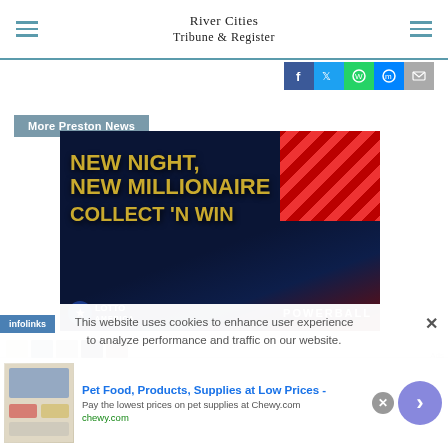River Cities Tribune & Register
[Figure (screenshot): Social media sharing buttons: Facebook, Twitter, WhatsApp, Messenger, Email]
More Preston News
[Figure (photo): Lottery advertisement: NEW NIGHT, NEW MILLIONAIRE COLLECT 'N WIN - Lotto America / Powerball]
This website uses cookies to enhance user experience to analyze performance and traffic on our website.
[Figure (screenshot): Infolinks badge and advertisement: Pet Food, Products, Supplies at Low Prices - Pay the lowest prices on pet supplies at Chewy.com]
Pet Food, Products, Supplies at Low Prices - Pay the lowest prices on pet supplies at Chewy.com chewy.com